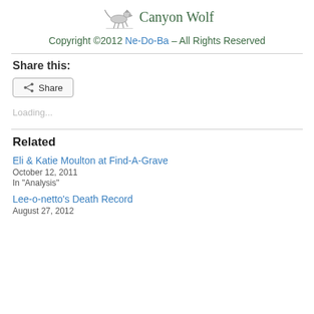[Figure (logo): Canyon Wolf logo with wolf illustration and site name text]
Copyright ©2012 Ne-Do-Ba – All Rights Reserved
Share this:
[Figure (screenshot): Share button with share icon]
Loading...
Related
Eli & Katie Moulton at Find-A-Grave
October 12, 2011
In "Analysis"
Lee-o-netto's Death Record
August 27, 2012